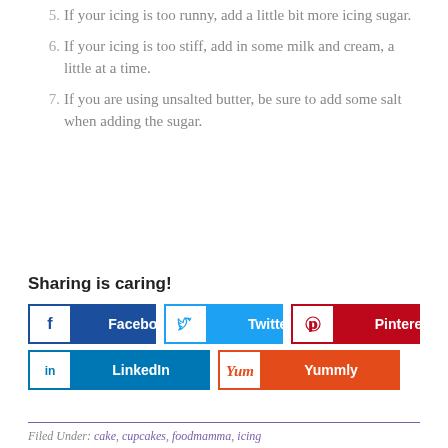5. If your icing is too runny, add a little bit more icing sugar.
6. If your icing is too stiff, add in some milk and cream, a little at a time.
7. If you are using unsalted butter, be sure to add some salt when adding the sugar.
Sharing is caring!
Filed Under: cake, cupcakes, foodmamma, icing